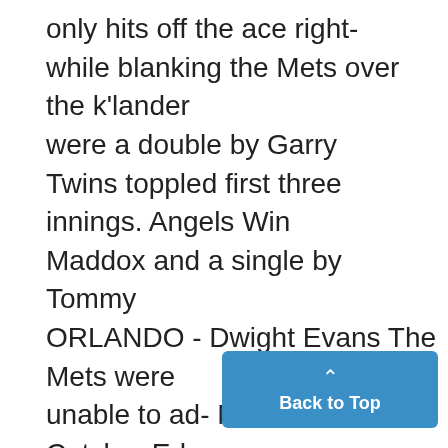only hits off the ace right- while blanking the Mets over the k'lander were a double by Garry Twins toppled first three innings. Angels Win Maddox and a single by Tommy ORLANDO - Dwight Evans The Mets were unable to ad- MESA, Ariz. - Catcher Ed Hutton. and John Balaz combined for vance a runner past second base Herrmann drove in two Cali- Ron Bryant, pitched she final five runs in the Boston Red Sox Falcone, John Curtis fornia runs Angels three innings, and yielded two